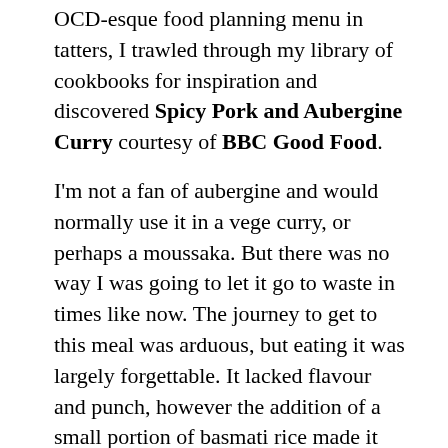OCD-esque food planning menu in tatters, I trawled through my library of cookbooks for inspiration and discovered Spicy Pork and Aubergine Curry courtesy of BBC Good Food.
I'm not a fan of aubergine and would normally use it in a vege curry, or perhaps a moussaka. But there was no way I was going to let it go to waste in times like now. The journey to get to this meal was arduous, but eating it was largely forgettable. It lacked flavour and punch, however the addition of a small portion of basmati rice made it bearable. Unless I'm the recipient of any stray aubergines any time soon this dish is unlikely to feature on my dinner table again.
Recipe: Spicy pork and aubergine curry
Calories: 293 calories per serving (without rice)